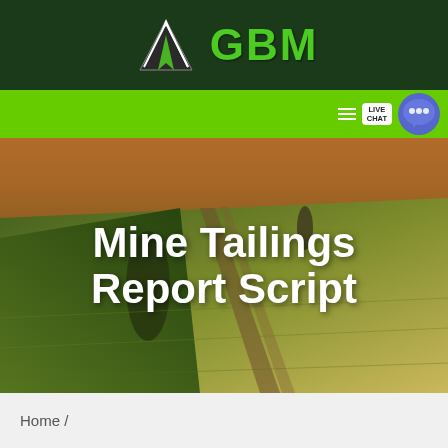GBM
[Figure (logo): GBM logo with arrow/mountain icon on dark green background, bright green GBM text]
[Figure (screenshot): Green navigation bar with hamburger menu icon and Live Chat bubble button on the right]
[Figure (photo): Aerial drone photo of green agricultural fields with rolling hills and trees at dusk/sunset]
Mine Tailings Report Script
Home /